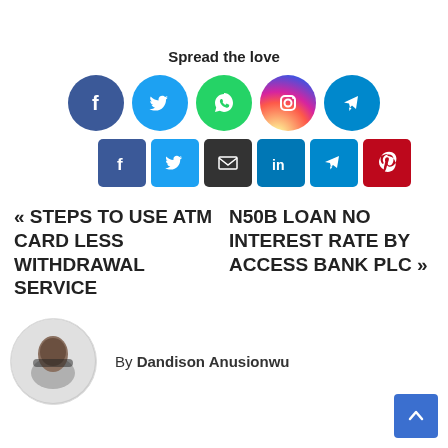Spread the love
[Figure (infographic): Social share icons row 1: Facebook (blue circle), Twitter (light blue circle), WhatsApp (green circle), Instagram (gradient circle), Telegram (blue circle)]
[Figure (infographic): Social share icons row 2 (square): Facebook, Twitter, Email, LinkedIn, Telegram, Pinterest]
« STEPS TO USE ATM CARD LESS WITHDRAWAL SERVICE
N50B LOAN NO INTEREST RATE BY ACCESS BANK PLC »
By Dandison Anusionwu